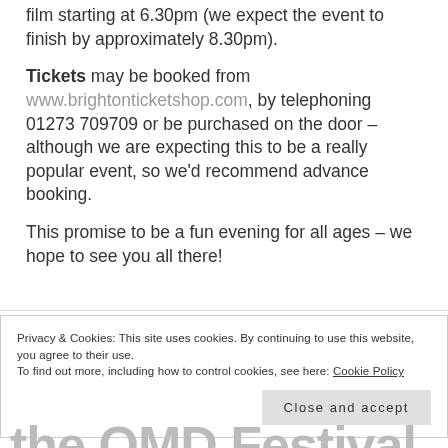film starting at 6.30pm (we expect the event to finish by approximately 8.30pm).
Tickets may be booked from www.brightonticketshop.com, by telephoning 01273 709709 or be purchased on the door – although we are expecting this to be a really popular event, so we'd recommend advance booking.
This promise to be a fun evening for all ages – we hope to see you all there!
Privacy & Cookies: This site uses cookies. By continuing to use this website, you agree to their use. To find out more, including how to control cookies, see here: Cookie Policy
Close and accept
the OMD Festival